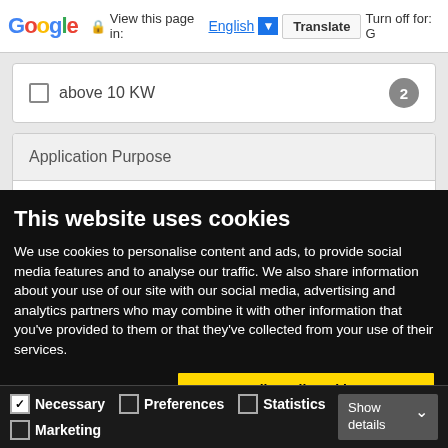Google  View this page in: English  Translate  Turn off for: G
above 10 KW  [badge: 2]
Application Purpose
This website uses cookies
We use cookies to personalise content and ads, to provide social media features and to analyse our traffic. We also share information about your use of our site with our social media, advertising and analytics partners who may combine it with other information that you've provided to them or that they've collected from your use of their services.
Allow all cookies
Allow selection
Use necessary cookies only
Necessary  Preferences  Statistics  Marketing  Show details